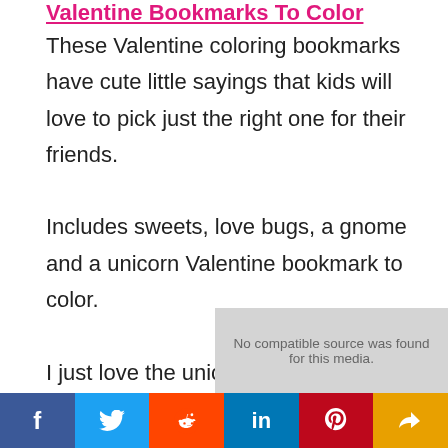Valentine Bookmarks To Color
These Valentine coloring bookmarks have cute little sayings that kids will love to pick just the right one for their friends.
Includes sweets, love bugs, a gnome and a unicorn Valentine bookmark to color.
I just love the unicorn and gnome ones 🙂
[Figure (other): Video placeholder showing 'No compatible source was found for this media.']
f  Twitter  Reddit  in  Pinterest  Share